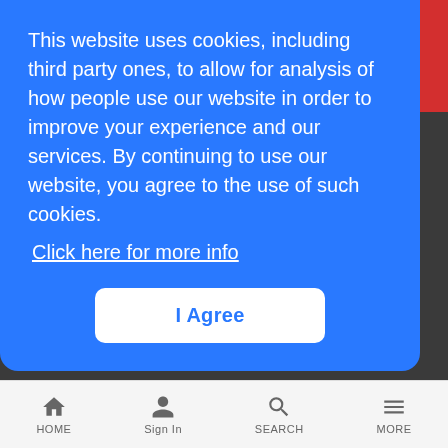[Figure (screenshot): Partially visible red button top right corner with white text 'etter up']
This website uses cookies, including third party ones, to allow for analysis of how people use our website in order to improve your experience and our services. By continuing to use our website, you agree to the use of such cookies.
Click here for more info
I Agree
Company
About Us
In the News
Awards
HOME  Sign In  SEARCH  MORE